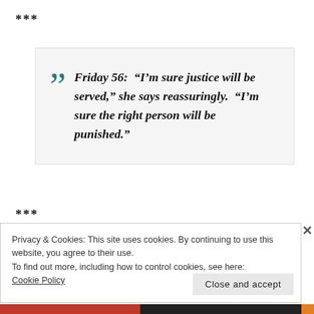***
Friday 56: “I’m sure justice will be served,” she says reassuringly. “I’m sure the right person will be punished.”
***
Privacy & Cookies: This site uses cookies. By continuing to use this website, you agree to their use.
To find out more, including how to control cookies, see here:
Cookie Policy
Close and accept